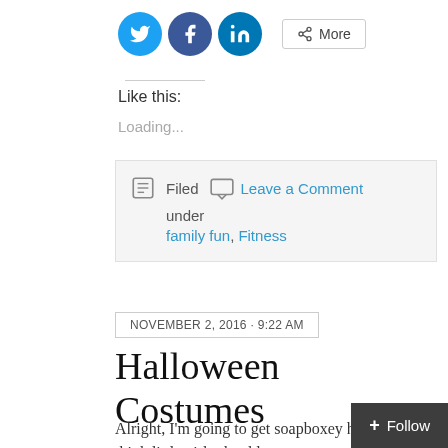[Figure (screenshot): Social share buttons: Twitter (blue bird icon), Facebook (blue f icon), LinkedIn (blue in icon), and a More button with share icon]
Like this:
Loading...
Filed  Leave a Comment
under
family fun, Fitness
NOVEMBER 2, 2016 · 9:22 AM
Halloween Costumes
Alright, I'm going to get soapboxey here.   I don't think little girls should